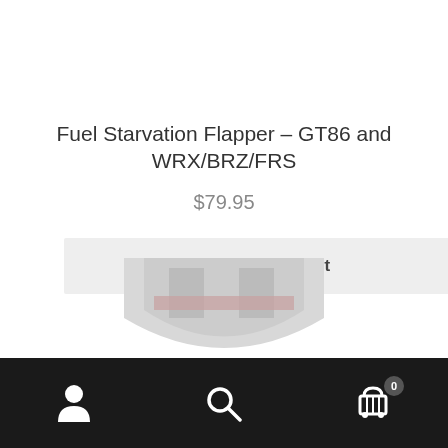Fuel Starvation Flapper – GT86 and WRX/BRZ/FRS
$79.95
Add to cart
[Figure (logo): Partial product image showing a shield-shaped logo with stylized letters, light grey with pink/red accent, bottom portion visible]
[Figure (infographic): Bottom navigation bar with three icons: user/account icon, search icon, and shopping cart icon with badge showing 0]